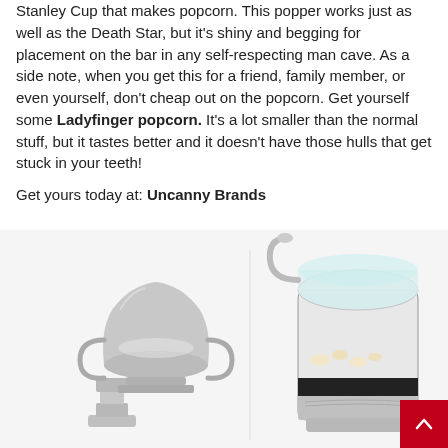Stanley Cup that makes popcorn. This popper works just as well as the Death Star, but it's shiny and begging for placement on the bar in any self-respecting man cave. As a side note, when you get this for a friend, family member, or even yourself, don't cheap out on the popcorn. Get yourself some Ladyfinger popcorn. It's a lot smaller than the normal stuff, but it tastes better and it doesn't have those hulls that get stuck in your teeth!
Get yours today at: Uncanny Brands
[Figure (photo): Two product images side by side: on the left, a miniature Stanley Cup trophy made of shiny silver metal; on the right, a clear glass and chrome popcorn maker machine with popcorn visible inside. A red scroll-to-top button with a caret/chevron up icon is overlaid in the bottom-right corner.]